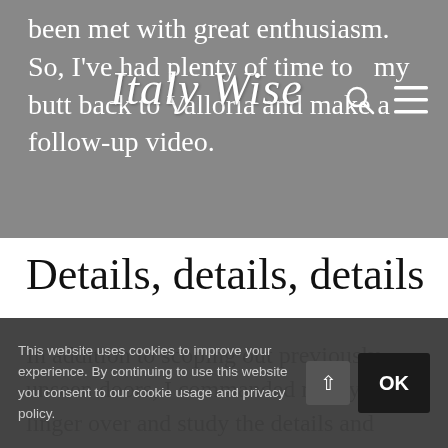been met with great enthusiasm. So, I've had plenty of time to my butt back to Valloria and make a follow-up video.
[Figure (logo): Italy Wise script logo in white italic text on grey background, with search and hamburger menu icons to the right]
Details, details, details
In addition to scoping out previously unseen doors, I commanded my eyes to linger over and study the details and brushstrokes of the artists. The two doors in the feature image of this post are prime examples of attention to
This website uses cookies to improve your experience. By continuing to use this website you consent to our cookie usage and privacy policy.